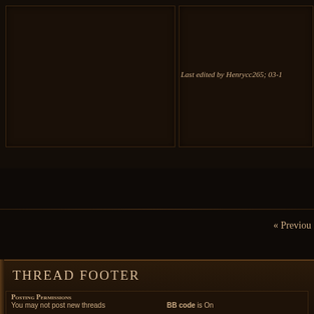Last edited by Henrycc265; 03-1
« Previou
THREAD FOOTER
Posting Permissions
You may not post new threads
BB code is On